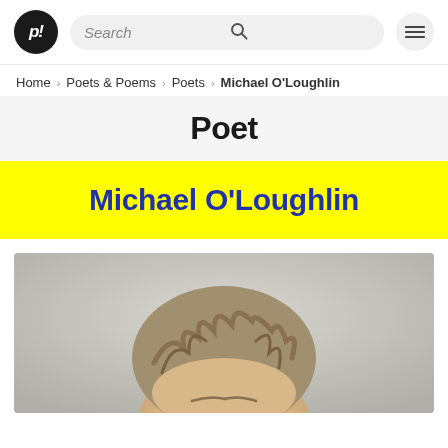p! [logo] Search [search icon] [menu icon]
Home > Poets & Poems > Poets > Michael O'Loughlin
Poet
Michael O'Loughlin
[Figure (photo): Close-up portrait photo of Michael O'Loughlin, a man with tousled brown-grey hair, photographed against a light grey background. Only the top of his head and upper face are visible as the image is cropped.]